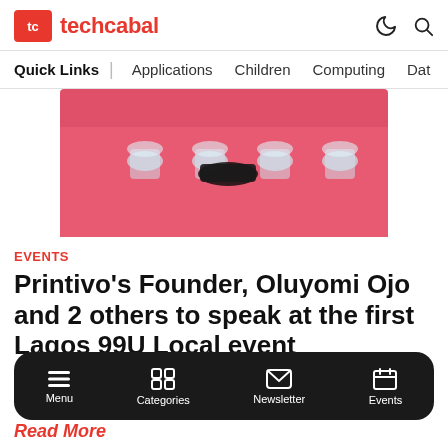tc techcabal
Quick Links | Applications  Children  Computing  Dat
[Figure (photo): Photo of a pink-tablecloth-covered table with several glass cups/bowls and a black object on top]
Events
Printivo's Founder, Oluyomi Ojo and 2 others to speak at the first Lagos 99U Local event
Lulu Fadoju
Menu  Categories  Newsletter  Events
Read More